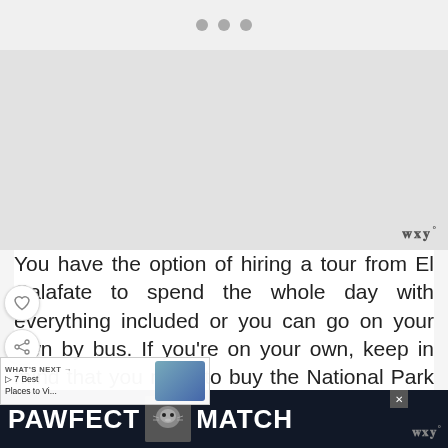[Figure (screenshot): Top navigation dots (three grey circles) on a light grey background]
[Figure (photo): Large image placeholder area (light grey), likely a photo of a scenic location. A stylized 'WWº' logo appears in the bottom-right corner.]
You have the option of hiring a tour from El Calafate to spend the whole day with everything included or you can go on your own by bus. If you're on your own, keep in mind that you need to buy the National Park entrance and find your way to the scenic overlooks. Admission is 130 Argentine pesos (15 euros).
[Figure (infographic): WHAT'S NEXT → ▷ 7 Best Places to Vi... promotional box with a thumbnail image of a scenic lake/mountain landscape]
[Figure (screenshot): Bottom advertisement banner: dark background with 'PAWFECT MATCH' text and a cat image, with an X close button and WWº logo on the right]